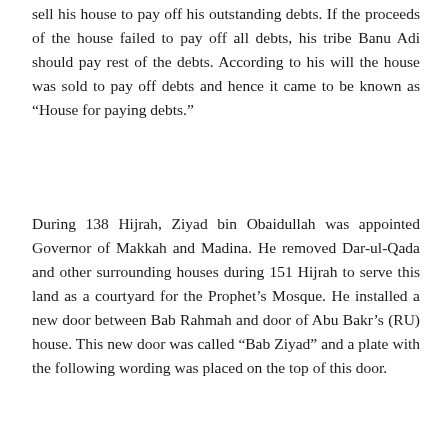sell his house to pay off his outstanding debts. If the proceeds of the house failed to pay off all debts, his tribe Banu Adi should pay rest of the debts. According to his will the house was sold to pay off debts and hence it came to be known as “House for paying debts.”
During 138 Hijrah, Ziyad bin Obaidullah was appointed Governor of Makkah and Madina. He removed Dar-ul-Qada and other surrounding houses during 151 Hijrah to serve this land as a courtyard for the Prophet’s Mosque. He installed a new door between Bab Rahmah and door of Abu Bakr’s (RU) house. This new door was called “Bab Ziyad” and a plate with the following wording was placed on the top of this door.